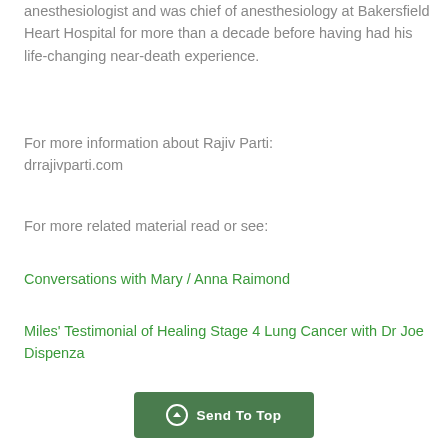anesthesiologist and was chief of anesthesiology at Bakersfield Heart Hospital for more than a decade before having had his life-changing near-death experience.
For more information about Rajiv Parti: drrajivparti.com
For more related material read or see:
Conversations with Mary / Anna Raimond
Miles' Testimonial of Healing Stage 4 Lung Cancer with Dr Joe Dispenza
Send To Top